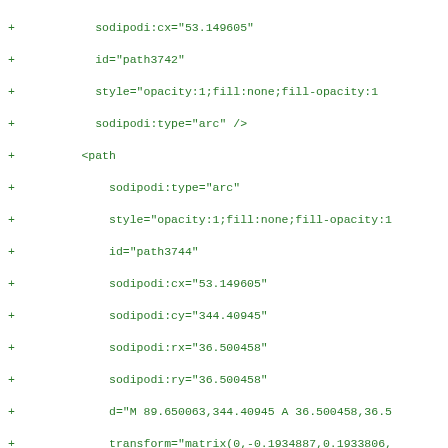Diff/code block showing SVG XML additions with sodipodi path attributes including cx, cy, rx, ry, d, transform, id, style, and type for path3742, path3744, path3746, path3748